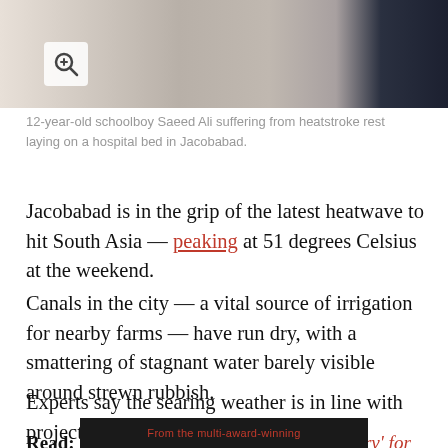[Figure (photo): Photo of 12-year-old schoolboy Saeed Ali suffering from heatstroke, resting on a hospital bed in Jacobabad. A magnifying glass icon appears in the upper left corner.]
12-year-old schoolboy Saeed Ali suffering from heatstroke rest laying on a hospital bed in Jacobabad.
Jacobabad is in the grip of the latest heatwave to hit South Asia — peaking at 51 degrees Celsius at the weekend.
Canals in the city — a vital source of irrigation for nearby farms — have run dry, with a smattering of stagnant water barely visible around strewn rubbish.
Experts say the searing weather is in line with projections for global warming.
Read: UN terms temperature rise 'main worry' for South Asia
From the multi-award-winning